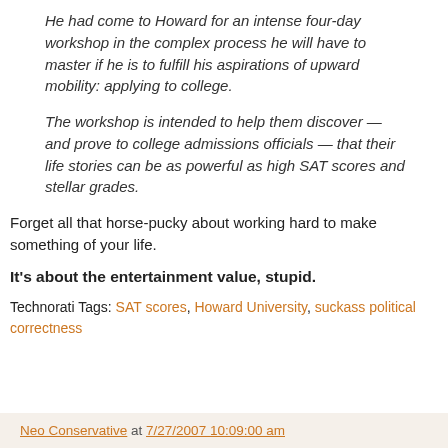He had come to Howard for an intense four-day workshop in the complex process he will have to master if he is to fulfill his aspirations of upward mobility: applying to college.
The workshop is intended to help them discover — and prove to college admissions officials — that their life stories can be as powerful as high SAT scores and stellar grades.
Forget all that horse-pucky about working hard to make something of your life.
It's about the entertainment value, stupid.
Technorati Tags: SAT scores, Howard University, suckass political correctness
Neo Conservative at 7/27/2007 10:09:00 am